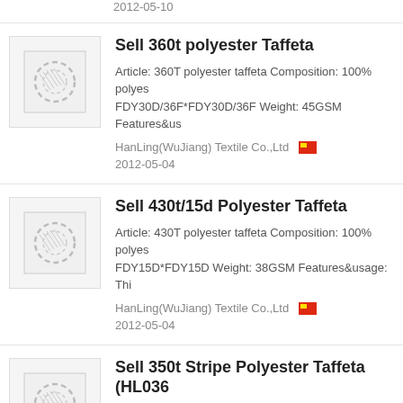2012-05-10
Sell 360t polyester Taffeta
Article: 360T polyester taffeta Composition: 100% polyester FDY30D/36F*FDY30D/36F Weight: 45GSM Features&us...
HanLing(WuJiang) Textile Co.,Ltd
2012-05-04
Sell 430t/15d Polyester Taffeta
Article: 430T polyester taffeta Composition: 100% polyester FDY15D*FDY15D Weight: 38GSM Features&usage: Thi...
HanLing(WuJiang) Textile Co.,Ltd
2012-05-04
Sell 350t Stripe Polyester Taffeta (HL036...
Article: 350T stripe taffeta Compositon: 100% polyester 30D/24F+50D/48F*50D/48F Style: Striped Features: Sof...
HanLing(WuJiang) Textile Co.,Ltd
2012-05-15